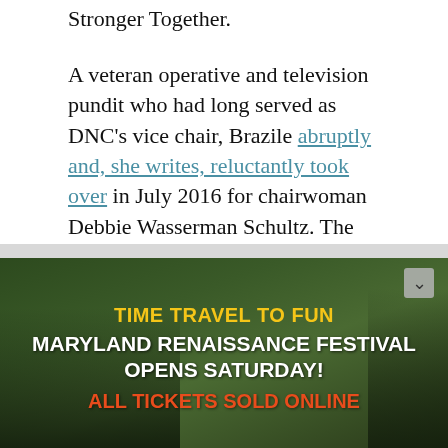Stronger Together.
A veteran operative and television pundit who had long served as DNC's vice chair, Brazile abruptly and, she writes, reluctantly took over in July 2016 for chairwoman Debbie Wasserman Schultz. The Florida congresswoman was ousted from the DNC on the eve of the party convention after WikiLeaks released stolen emails among her and her advisers that showed favoritism for Clinton during the competitive primaries.
[Figure (infographic): Advertisement banner for Maryland Renaissance Festival with outdoor festival scene background, people in renaissance costumes visible. Text reads: TIME TRAVEL TO FUN / MARYLAND RENAISSANCE FESTIVAL OPENS SATURDAY! / ALL TICKETS SOLD ONLINE]